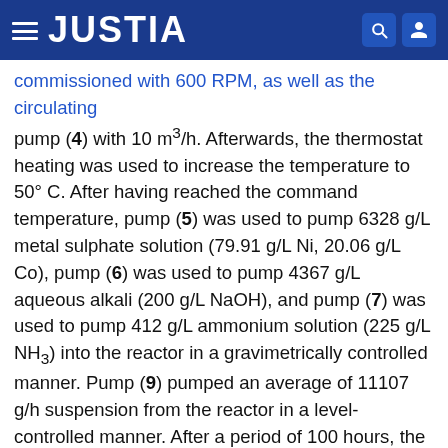JUSTIA
commissioned with 600 RPM, as well as the circulating pump (4) with 10 m³/h. Afterwards, the thermostat heating was used to increase the temperature to 50° C. After having reached the command temperature, pump (5) was used to pump 6328 g/L metal sulphate solution (79.91 g/L Ni, 20.06 g/L Co), pump (6) was used to pump 4367 g/L aqueous alkali (200 g/L NaOH), and pump (7) was used to pump 412 g/L ammonium solution (225 g/L NH₃) into the reactor in a gravimetrically controlled manner. Pump (9) pumped an average of 11107 g/h suspension from the reactor in a level-controlled manner. After a period of 100 hours, the reactor reached its stationary condition and the suspension removed from the reactor as of this point in time was collected in a reservoir tank for a period of 24 hours. Afterwards, the same was drained onto a funnel filter and filtered. The filtrate volume was replaced with 100 liters of